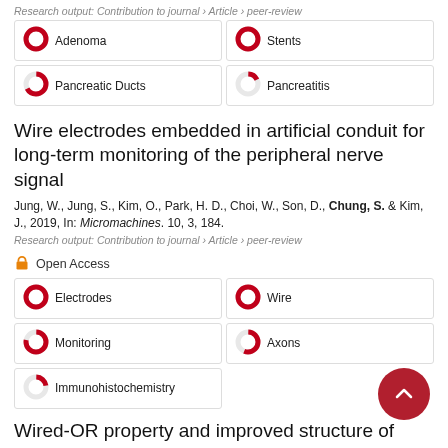Research output: Contribution to journal › Article › peer-review
Adenoma 100%
Stents 100%
Pancreatic Ducts 67%
Pancreatitis 17%
Wire electrodes embedded in artificial conduit for long-term monitoring of the peripheral nerve signal
Jung, W., Jung, S., Kim, O., Park, H. D., Choi, W., Son, D., Chung, S. & Kim, J., 2019, In: Micromachines. 10, 3, 184.
Research output: Contribution to journal › Article › peer-review
Open Access
Electrodes 100%
Wire 100%
Monitoring 78%
Axons 56%
Immunohistochemistry 22%
Wired-OR property and improved structure of recovered energy logic (REL)